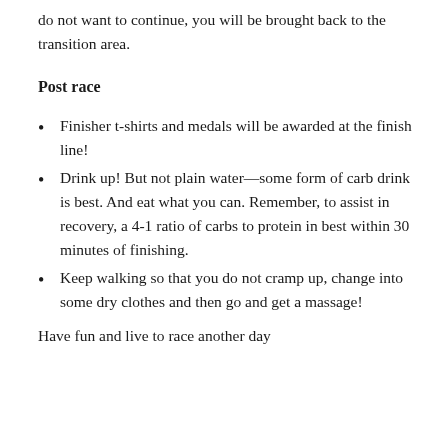do not want to continue, you will be brought back to the transition area.
Post race
Finisher t-shirts and medals will be awarded at the finish line!
Drink up! But not plain water—some form of carb drink is best. And eat what you can. Remember, to assist in recovery, a 4-1 ratio of carbs to protein in best within 30 minutes of finishing.
Keep walking so that you do not cramp up, change into some dry clothes and then go and get a massage!
Have fun and live to race another day